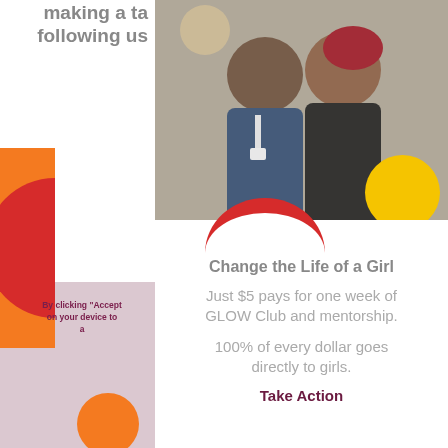making a ta following us
[Figure (illustration): Decorative concentric half-circle arcs in yellow, orange, red on left side]
[Figure (photo): Two smiling young women posing together at an event, one in a blue hoodie and one in a black shirt, with a yellow circle decoration overlay]
By clicking "Accept on your device to a
Change the Life of a Girl
Just $5 pays for one week of GLOW Club and mentorship.
100% of every dollar goes directly to girls.
Take Action